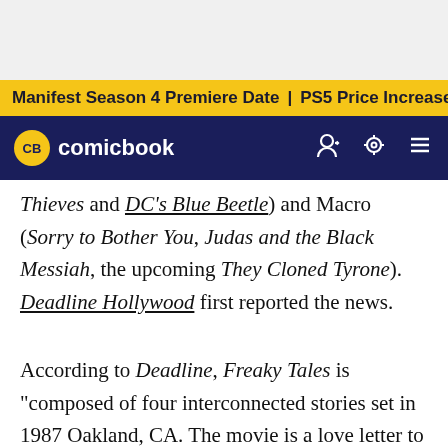Manifest Season 4 Premiere Date | PS5 Price Increase | Jon M
[Figure (logo): ComicBook.com logo with CB circle in yellow on dark navy navigation bar]
Thieves and DC's Blue Beetle) and Macro (Sorry to Bother You, Judas and the Black Messiah, the upcoming They Cloned Tyrone). Deadline Hollywood first reported the news.
According to Deadline, Freaky Tales is "composed of four interconnected stories set in 1987 Oakland, CA. The movie is a love letter to the music, movies, sports, politics, people, places and memories — some true, some invented — that Fleck grew up with in the '80s. On the surface, each story appears to exist in a world familiar to our own, but the Oakland of Freaky Tales hovers just beyond our knowable